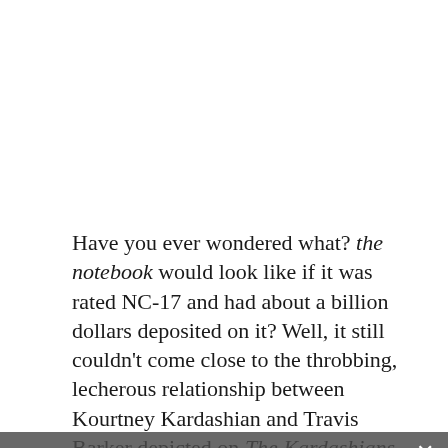Have you ever wondered what? the notebook would look like if it was rated NC-17 and had about a billion dollars deposited on it? Well, it still couldn't come close to the throbbing, lecherous relationship between Kourtney Kardashian and Travis Barker depicted on The Kardashians week to week – although I'm sure Gone Rogue would try it old school.
Kourtney and Travis – or Kravis, as the media has fondly called them but unoriginal – have